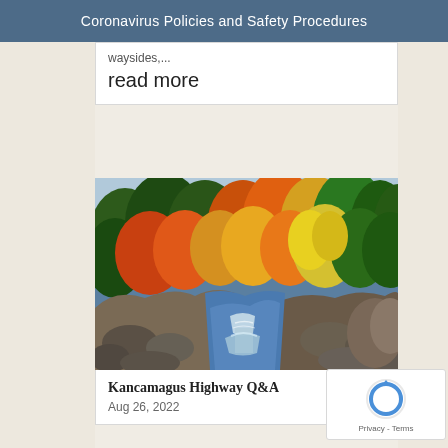Coronavirus Policies and Safety Procedures
waysides,...
read more
[Figure (photo): A scenic autumn photograph of a rocky river with a small waterfall, surrounded by colorful fall foliage in orange, yellow, red, and green. Rocky riverbed in foreground with rushing water.]
Kancamagus Highway Q&A
Aug 26, 2022